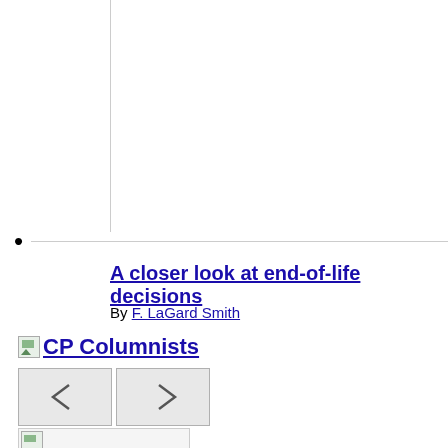[Figure (other): White rectangle with left border line, top section image placeholder]
A closer look at end-of-life decisions
By F. LaGard Smith
CP Columnists
[Figure (other): Navigation previous button with left-pointing chevron]
[Figure (other): Navigation next button with right-pointing chevron]
[Figure (photo): Author photo thumbnail for Richard D. Land]
Richard D. Land